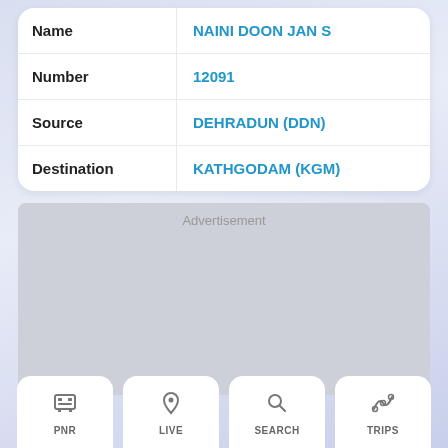| Field | Value |
| --- | --- |
| Name | NAINI DOON JAN S |
| Number | 12091 |
| Source | DEHRADUN (DDN) |
| Destination | KATHGODAM (KGM) |
[Figure (other): Advertisement placeholder box]
PNR | LIVE | SEARCH | TRIPS